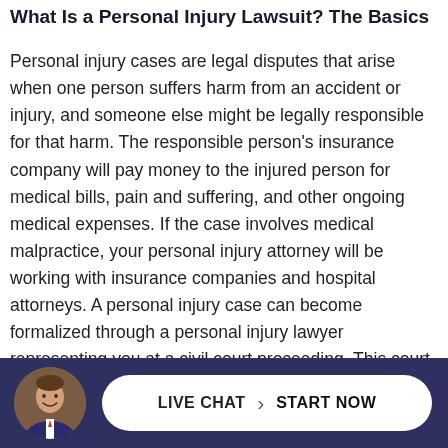What Is a Personal Injury Lawsuit? The Basics
Personal injury cases are legal disputes that arise when one person suffers harm from an accident or injury, and someone else might be legally responsible for that harm. The responsible person's insurance company will pay money to the injured person for medical bills, pain and suffering, and other ongoing medical expenses. If the case involves medical malpractice, your personal injury attorney will be working with insurance companies and hospital attorneys. A personal injury case can become formalized through a personal injury lawyer representing you at a civil court proceeding. This court session seeks to find others legally at fault through a court judgment or, as is much
[Figure (other): Bottom bar with dark blue background showing a circular headshot photo of a smiling man in a suit with a LIVE CHAT | START NOW button in white pill shape]